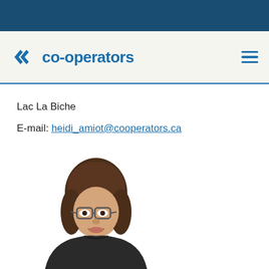co-operators
Lac La Biche
E-mail: heidi_amiot@cooperators.ca
[Figure (photo): Portrait photo of a woman with brown hair and glasses, smiling, wearing a dark top. Shown from shoulders up against a white background.]